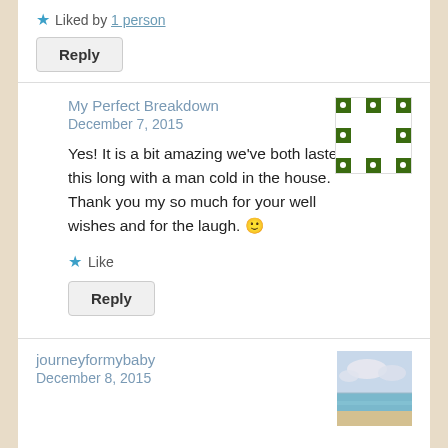★ Liked by 1 person
Reply
My Perfect Breakdown
December 7, 2015
[Figure (illustration): Green and white pixel/QR-code style avatar for My Perfect Breakdown]
Yes! It is a bit amazing we've both lasted this long with a man cold in the house. Thank you my so much for your well wishes and for the laugh. 🙂
★ Like
Reply
journeyformybaby
December 8, 2015
[Figure (photo): Beach/ocean scene photo avatar for journeyformybaby]